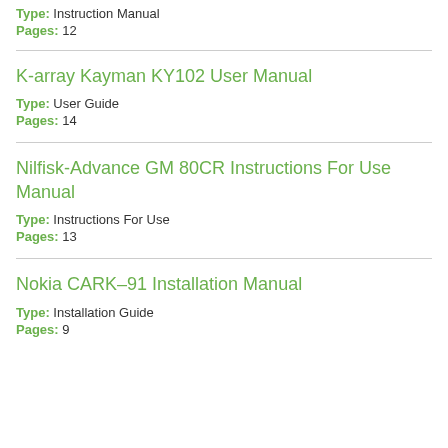Type: Instruction Manual
Pages: 12
K-array Kayman KY102 User Manual
Type: User Guide
Pages: 14
Nilfisk-Advance GM 80CR Instructions For Use Manual
Type: Instructions For Use
Pages: 13
Nokia CARK–91 Installation Manual
Type: Installation Guide
Pages: 9